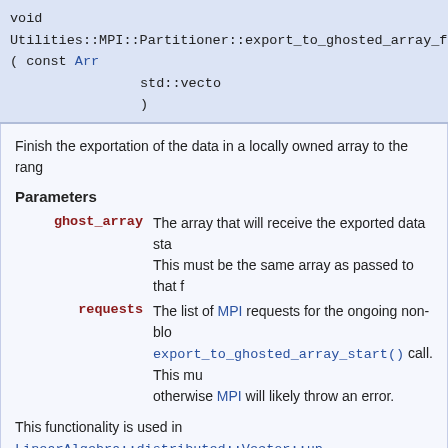void
Utilities::MPI::Partitioner::export_to_ghosted_array_finish ( const Arr
    std::vecto
    )
Finish the exportation of the data in a locally owned array to the rang
Parameters
ghost_array  The array that will receive the exported data sta... This must be the same array as passed to that f...
requests  The list of MPI requests for the ongoing non-blo... export_to_ghosted_array_start() call. This mu... otherwise MPI will likely throw an error.
This functionality is used in LinearAlgebra::distributed::Vector::up
◆ import_from_ghosted_array_start()
template<typename Number , typename MemorySpaceType = MemorySpace::Host>